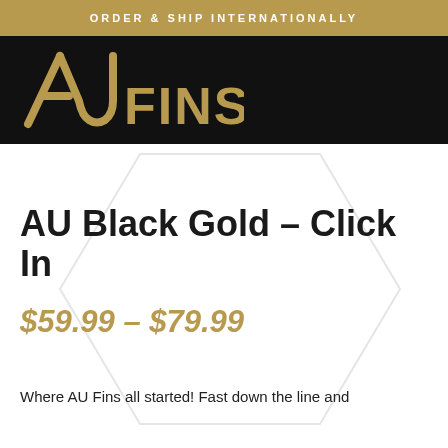ORDER & SHIP INTERNATIONALLY
[Figure (logo): AU Fins logo — gold stylized A and U letterforms with 'FINS' text, on black background]
AU Black Gold – Click In
$59.99 – $79.99
Where AU Fins all started! Fast down the line and